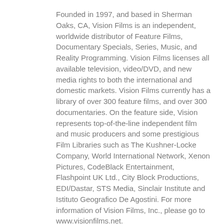Founded in 1997, and based in Sherman Oaks, CA, Vision Films is an independent, worldwide distributor of Feature Films, Documentary Specials, Series, Music, and Reality Programming. Vision Films licenses all available television, video/DVD, and new media rights to both the international and domestic markets. Vision Films currently has a library of over 300 feature films, and over 300 documentaries. On the feature side, Vision represents top-of-the-line independent film and music producers and some prestigious Film Libraries such as The Kushner-Locke Company, World International Network, Xenon Pictures, CodeBlack Entertainment, Flashpoint UK Ltd., City Block Productions, EDI/Dastar, STS Media, Sinclair Institute and Istituto Geografico De Agostini. For more information of Vision Films, Inc., please go to www.visionfilms.net.
About Image Entertainment: